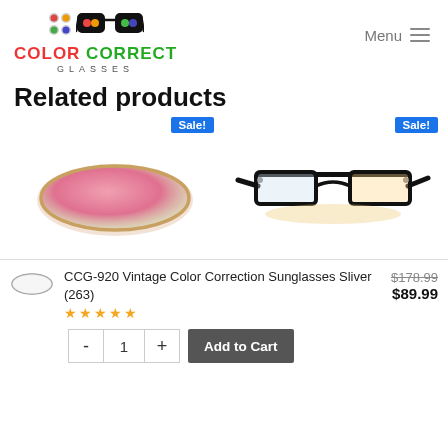[Figure (logo): Color Correct Glasses logo with colorful dots and glasses frame icon, text COLOR CORRECT in red/green, GLASSES below]
Related products
[Figure (photo): Pink/rose tinted oval lens for color correction glasses with Sale! badge]
[Figure (photo): Black semi-rimless glasses frames with Sale! badge]
CCG-920 Vintage Color Correction Sunglasses Sliver (263)
★★★★★
$178.99 $89.99